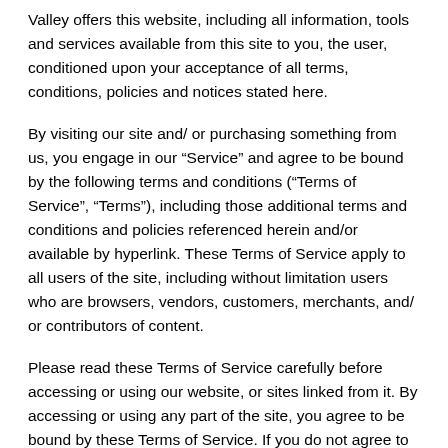Valley offers this website, including all information, tools and services available from this site to you, the user, conditioned upon your acceptance of all terms, conditions, policies and notices stated here.
By visiting our site and/ or purchasing something from us, you engage in our “Service” and agree to be bound by the following terms and conditions (“Terms of Service”, “Terms”), including those additional terms and conditions and policies referenced herein and/or available by hyperlink. These Terms of Service apply to all users of the site, including without limitation users who are browsers, vendors, customers, merchants, and/ or contributors of content.
Please read these Terms of Service carefully before accessing or using our website, or sites linked from it. By accessing or using any part of the site, you agree to be bound by these Terms of Service. If you do not agree to all the terms and conditions of this agreement, then you may not access the website or use any services. If these Terms of Service are